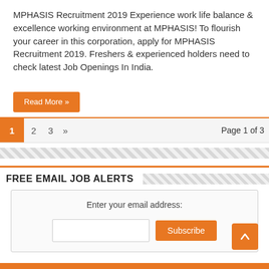MPHASIS Recruitment 2019 Experience work life balance & excellence working environment at MPHASIS! To flourish your career in this corporation, apply for MPHASIS Recruitment 2019. Freshers & experienced holders need to check latest Job Openings In India.
Read More »
1  2  3  »  Page 1 of 3
FREE EMAIL JOB ALERTS
Enter your email address:
Subscribe